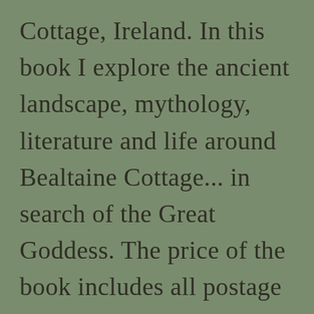Cottage, Ireland. In this book I explore the ancient landscape, mythology, literature and life around Bealtaine Cottage... in search of the Great Goddess. The price of the book includes all postage and packing to wherever you live in the world! Bealtaine Books and Maps are printed in Ireland and posted from Ireland to support the people of Ireland